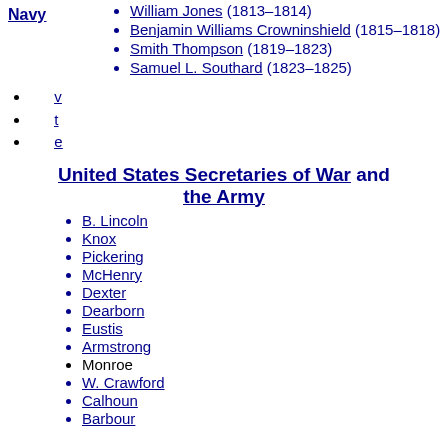William Jones (1813–1814)
Benjamin Williams Crowninshield (1815–1818)
Smith Thompson (1819–1823)
Samuel L. Southard (1823–1825)
v
t
e
United States Secretaries of War and the Army
B. Lincoln
Knox
Pickering
McHenry
Dexter
Dearborn
Eustis
Armstrong
Monroe
W. Crawford
Calhoun
Barbour